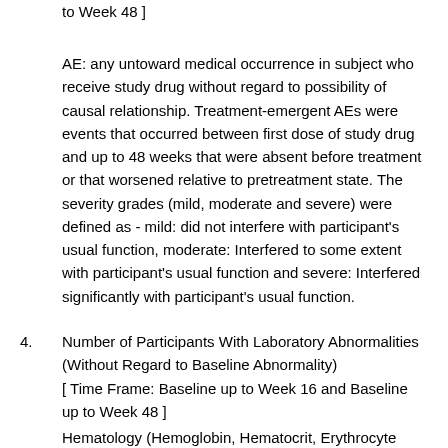to Week 48 ]
AE: any untoward medical occurrence in subject who receive study drug without regard to possibility of causal relationship. Treatment-emergent AEs were events that occurred between first dose of study drug and up to 48 weeks that were absent before treatment or that worsened relative to pretreatment state. The severity grades (mild, moderate and severe) were defined as - mild: did not interfere with participant's usual function, moderate: Interfered to some extent with participant's usual function and severe: Interfered significantly with participant's usual function.
4. Number of Participants With Laboratory Abnormalities (Without Regard to Baseline Abnormality) [ Time Frame: Baseline up to Week 16 and Baseline up to Week 48 ]
Hematology (Hemoglobin, Hematocrit, Erythrocyte